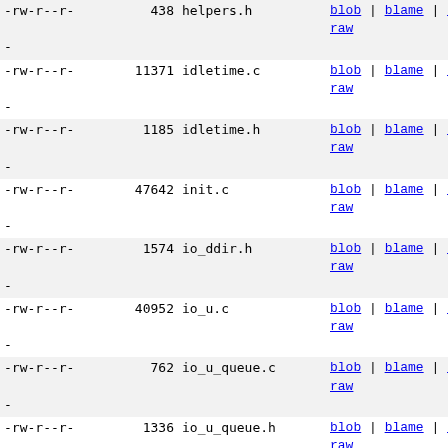| permissions | size | name | links |
| --- | --- | --- | --- |
| -rw-r--r- | 438 | helpers.h | blob | blame | history | raw |
| -rw-r--r- | 11371 | idletime.c | blob | blame | history | raw |
| -rw-r--r- | 1185 | idletime.h | blob | blame | history | raw |
| -rw-r--r- | 47642 | init.c | blob | blame | history | raw |
| -rw-r--r- | 1574 | io_ddir.h | blob | blame | history | raw |
| -rw-r--r- | 40952 | io_u.c | blob | blame | history | raw |
| -rw-r--r- | 762 | io_u_queue.c | blob | blame | history | raw |
| -rw-r--r- | 1336 | io_u_queue.h | blob | blame | history | raw |
| -rw-r--r- | 6823 | ioengine.h | blob | blame | history | raw |
| -rw-r--r- | 12670 | ioengines.c | blob | blame | history | raw |
| -rw-r--r- | 14922 | iolog.c | blob | blame | history | raw |
| -rw-r--r- | 3280 | iolog.h | blob | blame | history | raw |
| -rw-r--r- | 8055 | json.c | blob | blame | history | raw |
| -rw-r--r- | 2424 | json.h | blob | blame | history | raw |